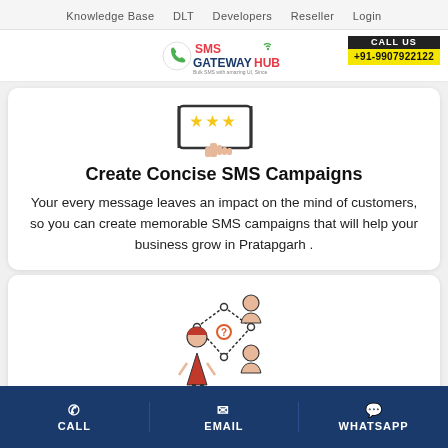Knowledge Base  DLT  Developers  Reseller  Login
[Figure (logo): SMS Gateway Hub logo with phone icon and text]
CALL US +91-9907922122
[Figure (illustration): Rating/feedback icon with three stars and a hand pointer on a tablet]
Create Concise SMS Campaigns
Your every message leaves an impact on the mind of customers, so you can create memorable SMS campaigns that will help your business grow in Pratapgarh .
[Figure (illustration): Network/referral people icon showing connected user figures]
CALL  EMAIL  WHATSAPP